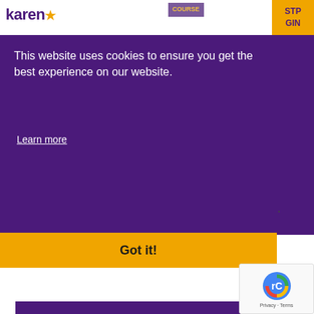karen
This website uses cookies to ensure you get the best experience on our website.
Learn more
Got it!
Practice
Share